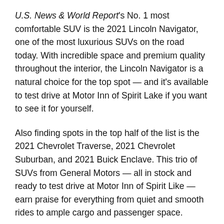U.S. News & World Report's No. 1 most comfortable SUV is the 2021 Lincoln Navigator, one of the most luxurious SUVs on the road today. With incredible space and premium quality throughout the interior, the Lincoln Navigator is a natural choice for the top spot — and it's available to test drive at Motor Inn of Spirit Lake if you want to see it for yourself.
Also finding spots in the top half of the list is the 2021 Chevrolet Traverse, 2021 Chevrolet Suburban, and 2021 Buick Enclave. This trio of SUVs from General Motors — all in stock and ready to test drive at Motor Inn of Spirit Like — earn praise for everything from quiet and smooth rides to ample cargo and passenger space.
If you're looking for a comfy, cozy SUV, the 2021 Lincoln Navigator, 2021 Chevrolet Traverse, 2021 Chevrolet Suburban, and 2021 Buick Enclave are four of the very best options out there. Stop in to see them all.